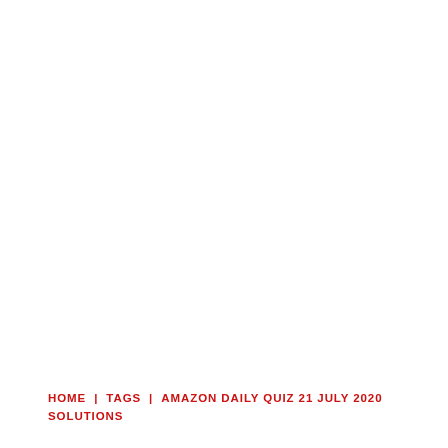HOME | TAGS | AMAZON DAILY QUIZ 21 JULY 2020 SOLUTIONS